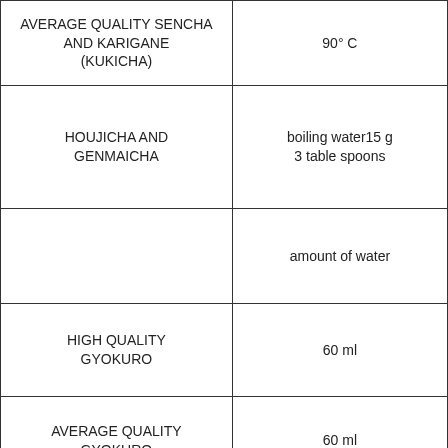| AVERAGE QUALITY SENCHA AND KARIGANE (KUKICHA) | 90° C |
| HOUJICHA AND GENMAICHA | boiling water15 g
3 table spoons |
|  | amount of water |
| HIGH QUALITY GYOKURO | 60 ml |
| AVERAGE QUALITY GYOKURO | 60 ml |
| HIGH QUALITY SENCHA AND KARIGANE (KUKICHA) | 170 ml |